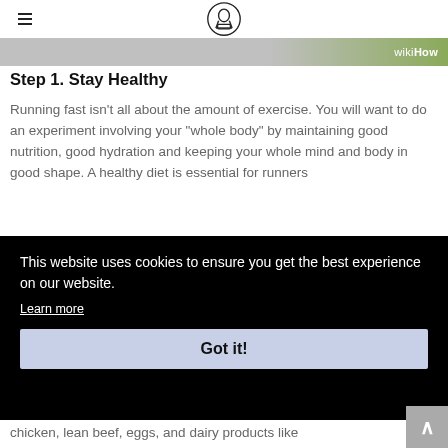wikiHow
[Figure (logo): wikiHow banner with gray to green gradient and wikiHow logo text]
Step 1. Stay Healthy
Running fast isn't all about the amount of exercise. You will want to do an experiment involving your "whole body" by maintaining good nutrition, good hydration and keeping your whole mind and body in good shape. A healthy diet is essential for runners
This website uses cookies to ensure you get the best experience on our website.
Learn more
Got it!
chicken, lean beef, eggs, and dairy products like